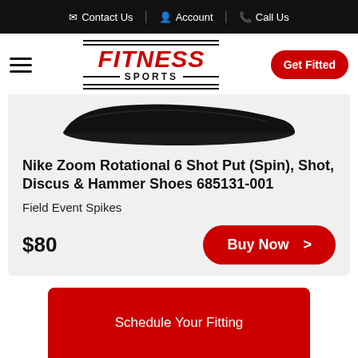Contact Us | Account | Call Us
[Figure (logo): Fitness Sports logo with red italic FITNESS text and black SPORTS text, flanked by horizontal lines, plus hamburger menu icon and Get Fitted red pill button]
[Figure (photo): Nike Zoom Rotational 6 shoe sole/bottom view, black, photographed from above on white background]
Nike Zoom Rotational 6 Shot Put (Spin), Shot, Discus & Hammer Shoes 685131-001
Field Event Spikes
$80
Buy Now >
Schedule Your Fitting